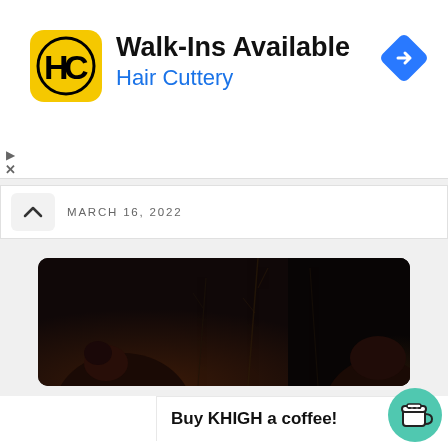[Figure (screenshot): Ad banner for Hair Cuttery showing logo, Walk-Ins Available text, and navigation icon]
MARCH 16, 2022
[Figure (photo): Dark photo showing silhouettes of people's heads with twigs/branches against a black background]
Accept
We use cookies on our website to give you the most relevant experience by remembering your preferences and repeat visits. By clicking Accept, you consent to the use of ALL the c
Buy KHIGH a coffee!